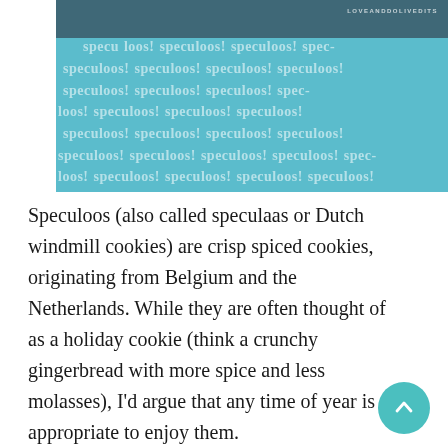[Figure (photo): A teal/blue-toned decorative image with the word 'speculoos!' repeated in white semi-transparent text as a watermark pattern across the entire image. A dark top portion and a brand/blog name watermark reading 'LOVEANDDOLIVEDIETS' in small caps at the top right.]
Speculoos (also called speculaas or Dutch windmill cookies) are crisp spiced cookies, originating from Belgium and the Netherlands. While they are often thought of as a holiday cookie (think a crunchy gingerbread with more spice and less molasses), I’d argue that any time of year is appropriate to enjoy them.